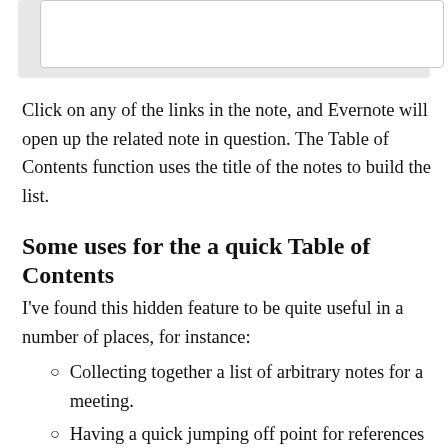[Figure (screenshot): White box with light grey border and background, representing a screenshot or image placeholder at the top of the page]
Click on any of the links in the note, and Evernote will open up the related note in question. The Table of Contents function uses the title of the notes to build the list.
Some uses for the a quick Table of Contents
I've found this hidden feature to be quite useful in a number of places, for instance:
Collecting together a list of arbitrary notes for a meeting.
Having a quick jumping off point for references